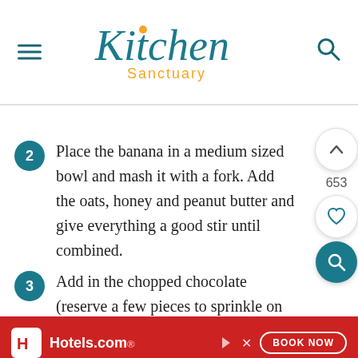Kitchen Sanctuary
Place the banana in a medium sized bowl and mash it with a fork. Add the oats, honey and peanut butter and give everything a good stir until combined.
Add in the chopped chocolate (reserve a few pieces to sprinkle on once the cookies are cooked) and the salt. Stir to combine
Take a ball and then squash to flatten
[Figure (other): Hotels.com advertisement banner with Book Now button]